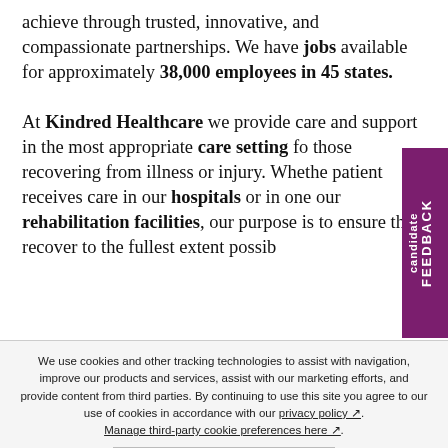achieve through trusted, innovative, and compassionate partnerships. We have jobs available for approximately 38,000 employees in 45 states.
At Kindred Healthcare we provide care and support in the most appropriate care setting for those recovering from illness or injury. Whether a patient receives care in our hospitals or in one of our rehabilitation facilities, our purpose is to ensure they recover to the fullest extent possible.
We use cookies and other tracking technologies to assist with navigation, improve our products and services, assist with our marketing efforts, and provide content from third parties. By continuing to use this site you agree to our use of cookies in accordance with our privacy policy. Manage third-party cookie preferences here.